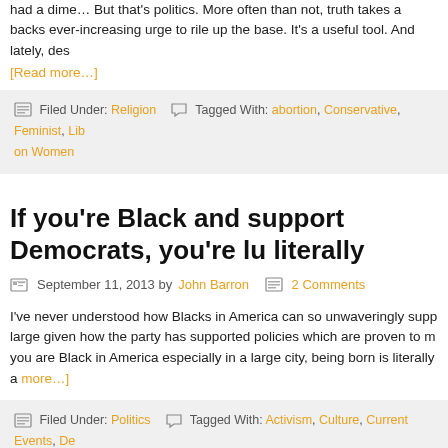had a dime… But that's politics. More often than not, truth takes a backs ever-increasing urge to rile up the base. It's a useful tool. And lately, des
[Read more…]
Filed Under: Religion   Tagged With: abortion, Conservative, Feminist, Lib on Women
If you're Black and support Democrats, you're lu literally
September 11, 2013 by John Barron   2 Comments
I've never understood how Blacks in America can so unwaveringly supp large given how the party has supported policies which are proven to m you are Black in America especially in a large city, being born is literally a more…]
Filed Under: Politics   Tagged With: Activism, Culture, Current Events, De control, Life, Planned Parenthood, Pro-Choice, Pro-Life, Statistics, Violence